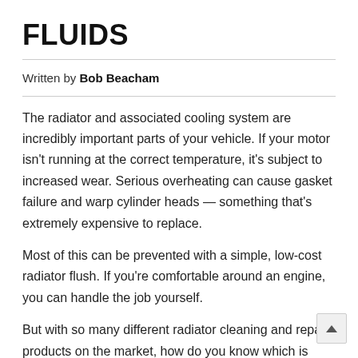FLUIDS
Written by Bob Beacham
The radiator and associated cooling system are incredibly important parts of your vehicle. If your motor isn't running at the correct temperature, it's subject to increased wear. Serious overheating can cause gasket failure and warp cylinder heads — something that's extremely expensive to replace.
Most of this can be prevented with a simple, low-cost radiator flush. If you're comfortable around an engine, you can handle the job yourself.
But with so many different radiator cleaning and repair products on the market, how do you know which is best? We've put together the following